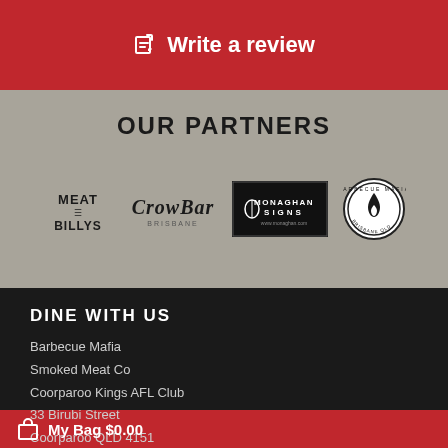✎ Write a review
OUR PARTNERS
[Figure (logo): Four partner logos: Meat Billy's, CrowBar, Monaghan Signs, and a circular badge logo]
DINE WITH US
Barbecue Mafia
Smoked Meat Co
Coorparoo Kings AFL Club
33 Birubi Street
Coorparoo QLD 4151
My Bag $0.00